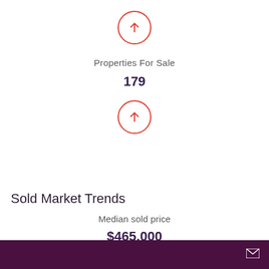[Figure (infographic): Red circle with upward arrow icon]
Properties For Sale
179
[Figure (infographic): Red circle with upward arrow icon]
Sold Market Trends
Median sold price
$465,000
[Figure (infographic): Green circle with downward arrow icon]